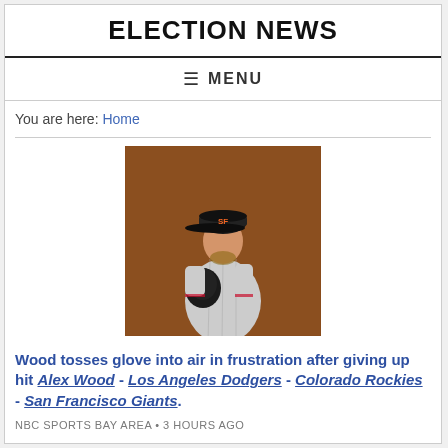ELECTION NEWS
≡ MENU
You are here: Home
[Figure (photo): A baseball pitcher wearing a San Francisco Giants uniform and cap, holding a glove, standing on a baseball field. A scorebug overlay is visible in the top left corner showing game information.]
Wood tosses glove into air in frustration after giving up hit Alex Wood - Los Angeles Dodgers - Colorado Rockies - San Francisco Giants.
NBC SPORTS BAY AREA • 3 HOURS AGO